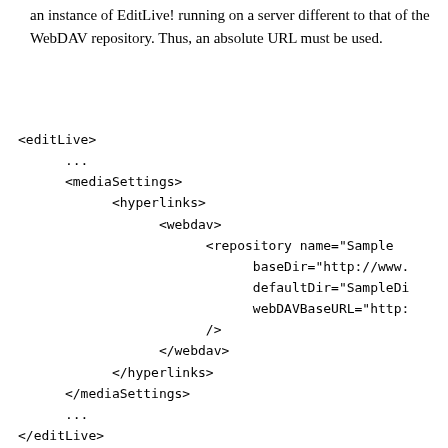an instance of EditLive! running on a server different to that of the WebDAV repository. Thus, an absolute URL must be used.
<editLive>
      ...
      <mediaSettings>
            <hyperlinks>
                  <webdav>
                        <repository name="Sample
                              baseDir="http://www.
                              defaultDir="SampleDi
                              webDAVBaseURL="http:
                        />
                  </webdav>
            </hyperlinks>
      </mediaSettings>
      ...
</editLive>